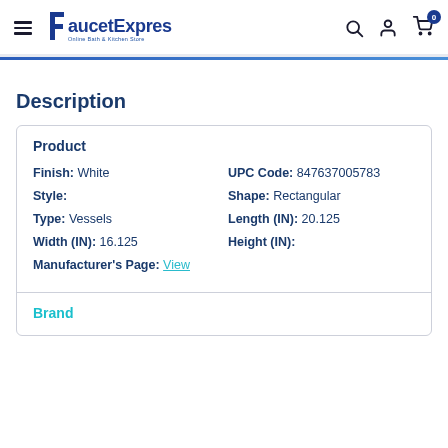FaucetExpress.ca
Description
| Finish: White | UPC Code: 847637005783 |
| Style: | Shape: Rectangular |
| Type: Vessels | Length (IN): 20.125 |
| Width (IN): 16.125 | Height (IN): |
| Manufacturer's Page: View |  |
Brand